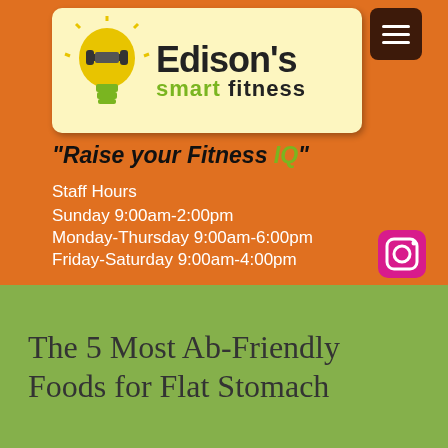[Figure (logo): Edison's Smart Fitness logo with lightbulb icon on cream background, plus hamburger menu button]
"Raise your Fitness IQ"
Staff Hours
Sunday 9:00am-2:00pm
Monday-Thursday 9:00am-6:00pm
Friday-Saturday 9:00am-4:00pm
[Figure (logo): Instagram icon]
The 5 Most Ab-Friendly Foods for Flat Stomach